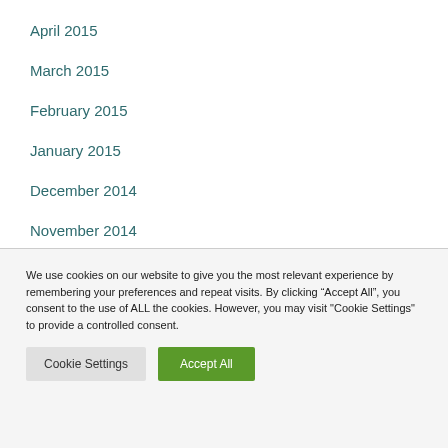April 2015
March 2015
February 2015
January 2015
December 2014
November 2014
We use cookies on our website to give you the most relevant experience by remembering your preferences and repeat visits. By clicking “Accept All”, you consent to the use of ALL the cookies. However, you may visit "Cookie Settings" to provide a controlled consent.
Cookie Settings | Accept All